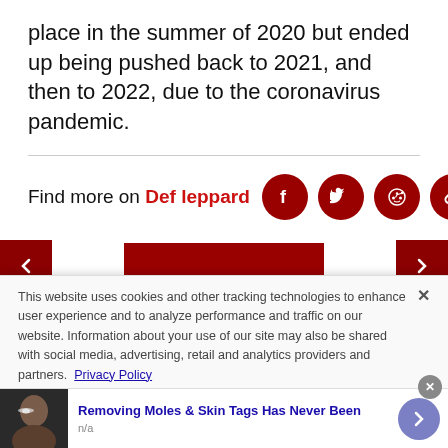place in the summer of 2020 but ended up being pushed back to 2021, and then to 2022, due to the coronavirus pandemic.
Find more on Def leppard
This website uses cookies and other tracking technologies to enhance user experience and to analyze performance and traffic on our website. Information about your use of our site may also be shared with social media, advertising, retail and analytics providers and partners. Privacy Policy
Removing Moles & Skin Tags Has Never Been
n/a